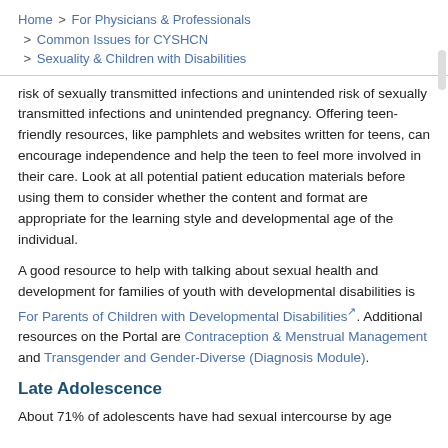Home > For Physicians & Professionals > Common Issues for CYSHCN > Sexuality & Children with Disabilities
risk of sexually transmitted infections and unintended pregnancy. Offering teen-friendly resources, like pamphlets and websites written for teens, can encourage independence and help the teen to feel more involved in their care. Look at all potential patient education materials before using them to consider whether the content and format are appropriate for the learning style and developmental age of the individual.
A good resource to help with talking about sexual health and development for families of youth with developmental disabilities is For Parents of Children with Developmental Disabilities. Additional resources on the Portal are Contraception & Menstrual Management and Transgender and Gender-Diverse (Diagnosis Module).
Late Adolescence
About 71% of adolescents have had sexual intercourse by age